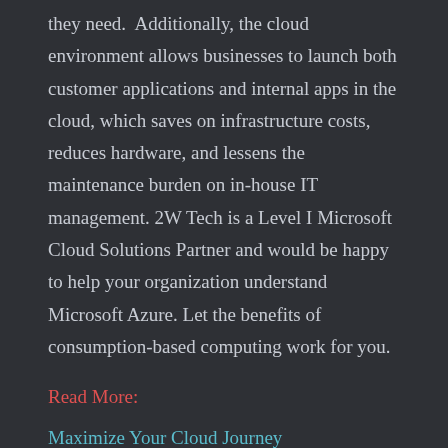they need.  Additionally, the cloud environment allows businesses to launch both customer applications and internal apps in the cloud, which saves on infrastructure costs, reduces hardware, and lessens the maintenance burden on in-house IT management. 2W Tech is a Level I Microsoft Cloud Solutions Partner and would be happy to help your organization understand Microsoft Azure. Let the benefits of consumption-based computing work for you.
Read More:
Maximize Your Cloud Journey
Epicor Creating New User Experiences